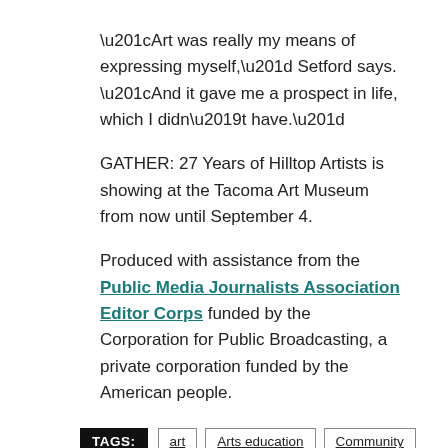“Art was really my means of expressing myself,” Setford says. “And it gave me a prospect in life, which I didn’t have.”
GATHER: 27 Years of Hilltop Artists is showing at the Tacoma Art Museum from now until September 4.
Produced with assistance from the Public Media Journalists Association Editor Corps funded by the Corporation for Public Broadcasting, a private corporation funded by the American people.
TAGS: art | Arts education | Community | glassblowing | Hilltop Artists | Tacoma | Tacoma Art Museum